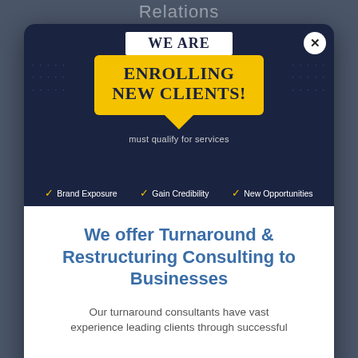Relations
[Figure (infographic): Promotional banner with dark navy blue background, white ribbon saying WE ARE, yellow speech bubble saying ENROLLING NEW CLIENTS!, subtitle 'must qualify for services', close X button, and three checkmarks: Brand Exposure, Gain Credibility, New Opportunities]
We offer Turnaround & Restructuring Consulting to Businesses
Our turnaround consultants have vast experience leading clients through successful